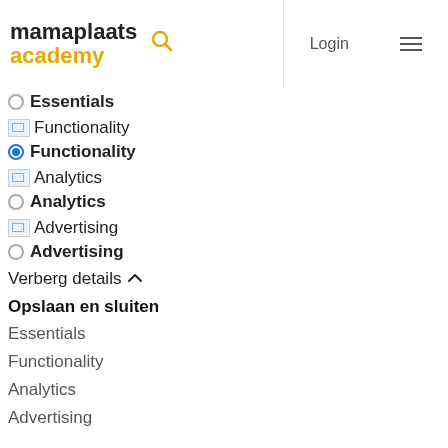mamaplaats academy — Login
Essentials (partial, radio unchecked)
Functionality (broken image)
Functionality (radio checked, bold)
Analytics (broken image)
Analytics (radio unchecked, bold)
Advertising (broken image)
Advertising (radio unchecked, bold)
Verberg details ∧
Opslaan en sluiten
Essentials
Functionality
Analytics
Advertising